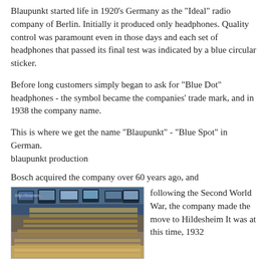Blaupunkt started life in 1920's Germany as the "Ideal" radio company of Berlin. Initially it produced only headphones. Quality control was paramount even in those days and each set of headphones that passed its final test was indicated by a blue circular sticker.
Before long customers simply began to ask for "Blue Dot" headphones - the symbol became the companies' trade mark, and in 1938 the company name.
This is where we get the name "Blaupunkt" - "Blue Spot" in German.
blaupunkt production
Bosch acquired the company over 60 years ago, and following the Second World War, the company made the move to Hildesheim It was at this time, 1932
[Figure (photo): A production line photograph showing Blaupunkt manufacturing, with electronics equipment on a conveyor belt in a factory setting. Watermark text 'http://bssmm...' visible in upper left.]